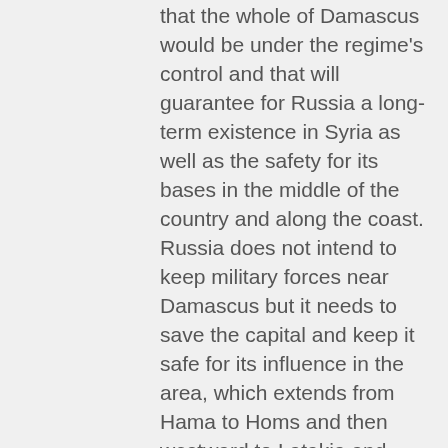that the whole of Damascus would be under the regime's control and that will guarantee for Russia a long-term existence in Syria as well as the safety for its bases in the middle of the country and along the coast. Russia does not intend to keep military forces near Damascus but it needs to save the capital and keep it safe for its influence in the area, which extends from Hama to Homs and then westward to Latakia and Tartus, where it has a naval base. Moscow managed to protect the northern areas of this line of control via the Astana talks and the de-escalation agreements it signed with Turkey and Iran. It also stipulated the deployment of Turkish observation points in Idlib. The second reason behind the Russian